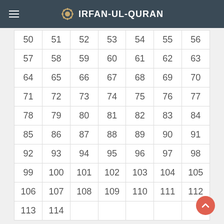IRFAN-UL-QURAN
| 50 | 51 | 52 | 53 | 54 | 55 | 56 |
| 57 | 58 | 59 | 60 | 61 | 62 | 63 |
| 64 | 65 | 66 | 67 | 68 | 69 | 70 |
| 71 | 72 | 73 | 74 | 75 | 76 | 77 |
| 78 | 79 | 80 | 81 | 82 | 83 | 84 |
| 85 | 86 | 87 | 88 | 89 | 90 | 91 |
| 92 | 93 | 94 | 95 | 96 | 97 | 98 |
| 99 | 100 | 101 | 102 | 103 | 104 | 105 |
| 106 | 107 | 108 | 109 | 110 | 111 | 112 |
| 113 | 114 |  |  |  |  |  |